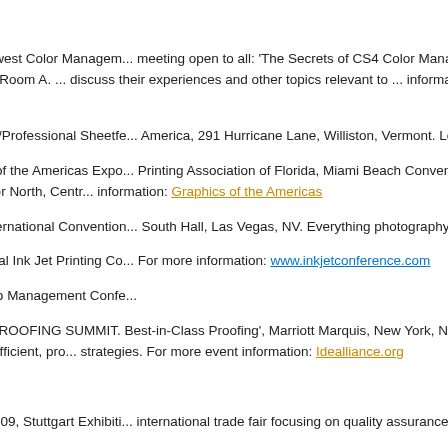SHOW EVENTS
================
February 26, 2009, Pacific Northwest Color Management meeting open to all: 'The Secrets of CS4 Color Management'. Oregonian 1320 SW Broadway, Conference Room A. ... discuss their experiences and other topics relevant to ... information or RSVP at PNWCMUG.com
February 26-27, 2009, G7 Expert/Professional Sheetfed ... America, 291 Hurricane Lane, Williston, Vermont. Lea...
February 26-28, 2009, Graphics of the Americas Expo... Printing Association of Florida, Miami Beach Conventi... for the printing and publishing industry for North, Centr... information: Graphics of the Americas
March 3rd-5th, 2009, PMA 09 International Convention... South Hall, Las Vegas, NV. Everything photography - ...
March 9th-11th, 2009, 32nd Global Ink Jet Printing Co... For more information: www.inkjetconference.com
March 15th-18th, 2009, NAPL Top Management Confe...
March 23rd, 2009, IDEAlliance 'PROOFING SUMMIT. Best-in-Class Proofing', Marriott Marquis, New York, N... practices and how you can become more efficient, pro... strategies. For more event information: Idealliance.org
To register: idealliance/register
May 5th-8th, 2009, CONTROL 2009, Stuttgart Exhibiti... international trade fair focusing on quality assurance...